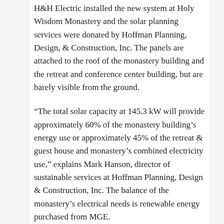H&H Electric installed the new system at Holy Wisdom Monastery and the solar planning services were donated by Hoffman Planning, Design, & Construction, Inc. The panels are attached to the roof of the monastery building and the retreat and conference center building, but are barely visible from the ground.
“The total solar capacity at 145.3 kW will provide approximately 60% of the monastery building’s energy use or approximately 45% of the retreat & guest house and monastery’s combined electricity use,” explains Mark Hanson, director of sustainable services at Hoffman Planning, Design & Construction, Inc. The balance of the monastery’s electrical needs is renewable energy purchased from MGE.